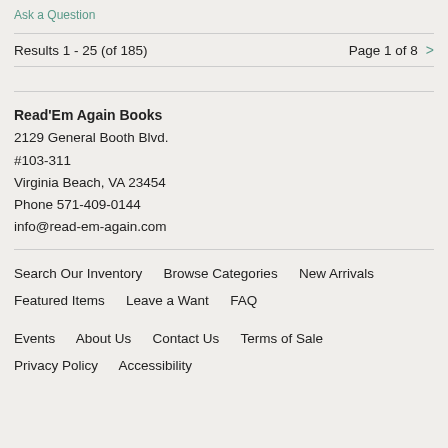Ask a Question
Results 1 - 25 (of 185)
Page 1 of 8 >
Read'Em Again Books
2129 General Booth Blvd.
#103-311
Virginia Beach, VA 23454
Phone 571-409-0144
info@read-em-again.com
Search Our Inventory
Browse Categories
New Arrivals
Featured Items
Leave a Want
FAQ
Events
About Us
Contact Us
Terms of Sale
Privacy Policy
Accessibility